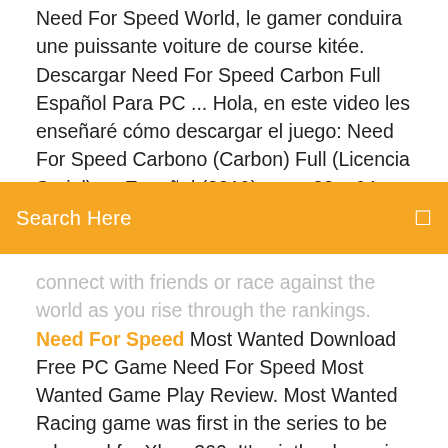Need For Speed World, le gamer conduira une puissante voiture de course kitée. Descargar Need For Speed Carbon Full Español Para PC ... Hola, en este video les enseñaré cómo descargar el juego: Need For Speed Carbono (Carbon) Full (Licencia Serial) en Español (2019), para 32 y 64 Bits.
Search Here
connect with friends or race against the world as you rise through the rankings. Need For Speed Most Wanted Download Free PC Game Need For Speed Most Wanted Game Play Review. Most Wanted Racing game was first in the series to be released for Xbox 360. It's ninth release in Need For Speed Racing game series. The game has many racing modes. Either you can do a quick race or you can play with time limit. Police Chase game mode is also integrated in NFS Most Wanted. If you are caught in the game then you get arrested by Police. Need For Speed: Most Wanted Download para Windows Grátis